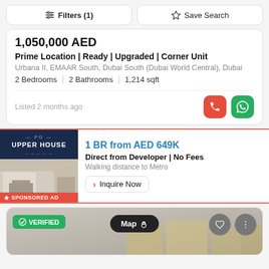Filters (1)   Save Search
1,050,000 AED
Prime Location | Ready | Upgraded | Corner Unit
Urbana II, EMAAR South, Dubai South (Dubai World Central), Dubai
2 Bedrooms  |  2 Bathrooms  |  1,214 sqft
Listed 2 months ago
[Figure (infographic): Sponsored ad for PG Upper House. Shows logo on dark navy background and interior photo. Headline: 1 BR from AED 649K. Subtext: Direct from Developer | No Fees. Walking distance to Metro. Inquire Now button.]
[Figure (screenshot): Bottom of new listing card showing VERIFIED badge, Map pin button, heart icon, and three-dot menu. Background shows partial interior image.]